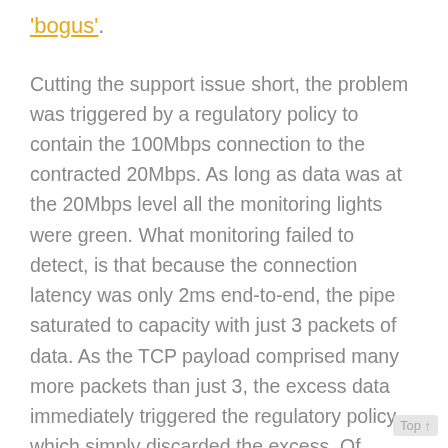'bogus'.
Cutting the support issue short, the problem was triggered by a regulatory policy to contain the 100Mbps connection to the contracted 20Mbps. As long as data was at the 20Mbps level all the monitoring lights were green. What monitoring failed to detect, is that because the connection latency was only 2ms end-to-end, the pipe saturated to capacity with just 3 packets of data. As the TCP payload comprised many more packets than just 3, the excess data immediately triggered the regulatory policy which simply discarded the excess. Of course this policy exasperated the application performance problem because, as fast as data was discarded, it was retransmitted resulting is a payload that far exceeded the requirement for the application by several orders of magnitude.